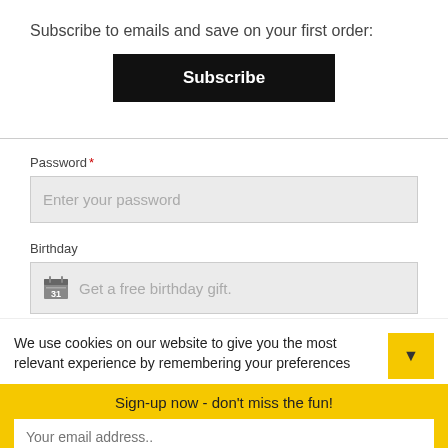Subscribe to emails and save on your first order:
Subscribe
Password *
Enter your password
Birthday
Get a free birthday gift.
We use cookies on our website to give you the most relevant experience by remembering your preferences
Sign-up now - don't miss the fun!
Your email address..
Subscribe